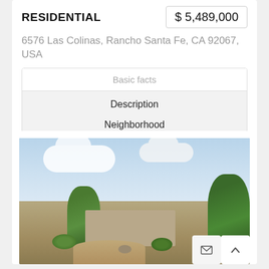RESIDENTIAL
$ 5,489,000
6576 Las Colinas, Rancho Santa Fe, CA 92067, USA
| Basic facts |
| Description |
| Neighborhood |
[Figure (photo): Aerial/elevated view of a residential property with a tile-roof house surrounded by trees and shrubs, circular driveway, blue sky with white clouds in the background]